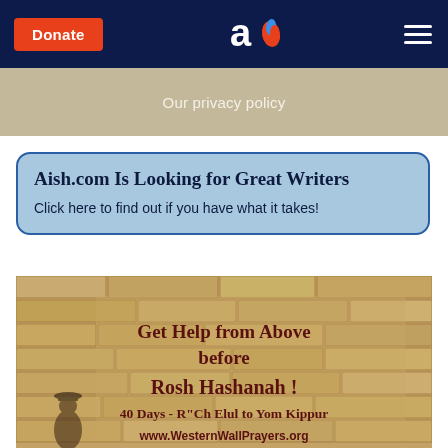Donate | Aish.com logo | Menu
Our privacy policy
Aish.com Is Looking for Great Writers
Click here to find out if you have what it takes!
[Figure (illustration): Western Wall (Kotel) background with text: Get Help from Above before Rosh Hashanah! 40 Days - R"Ch Elul to Yom Kippur www.WesternWallPrayers.org, with silhouette of person praying]